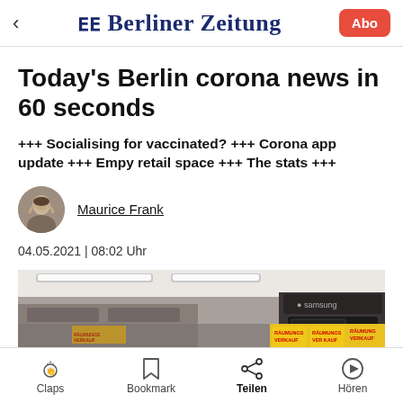Berliner Zeitung
Today's Berlin corona news in 60 seconds
+++ Socialising for vaccinated? +++ Corona app update +++ Empy retail space +++ The stats +++
Maurice Frank
04.05.2021 | 08:02 Uhr
[Figure (photo): Interior of a retail space with bright ceiling lights and clearance sale banners reading RÄUMUNGS VERKAUF]
Claps  Bookmark  Teilen  Hören